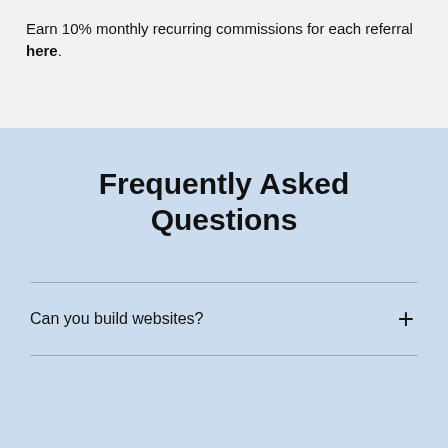Earn 10% monthly recurring commissions for each referral here.
Frequently Asked Questions
Can you build websites?